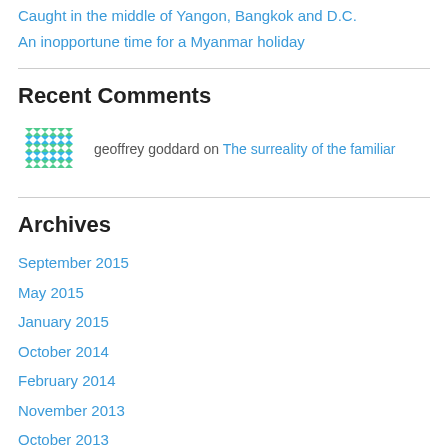Caught in the middle of Yangon, Bangkok and D.C.
An inopportune time for a Myanmar holiday
Recent Comments
geoffrey goddard on The surreality of the familiar
Archives
September 2015
May 2015
January 2015
October 2014
February 2014
November 2013
October 2013
August 2013